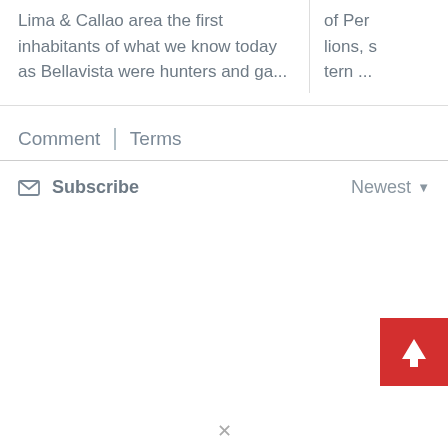Lima & Callao area the first inhabitants of what we know today as Bellavista were hunters and ga...
of Per lions, s tern ...
Comment
Terms
Subscribe
Newest
[Figure (illustration): Red square button with white upward arrow (scroll-to-top button)]